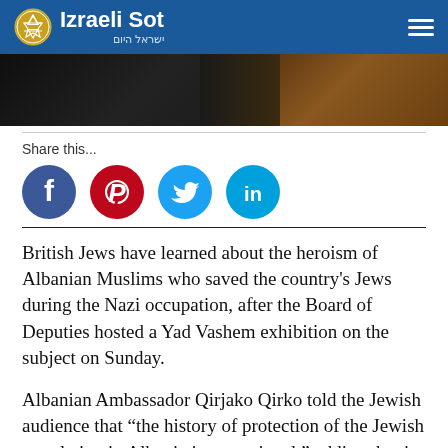Izraeli Sot | ישראל היום
[Figure (photo): Dark photograph strip showing partial figures in low light, brownish tones on the right side]
Share this...
[Figure (infographic): Social media share icons: Facebook (blue circle with f), Pinterest (red circle with P), Twitter (cyan circle with bird), LinkedIn (cyan circle with in)]
British Jews have learned about the heroism of Albanian Muslims who saved the country's Jews during the Nazi occupation, after the Board of Deputies hosted a Yad Vashem exhibition on the subject on Sunday.
Albanian Ambassador Qirjako Qirko told the Jewish audience that “the history of protection of the Jewish population in Albania is exceptional,” adding that it was “an excellent example of humanity and a